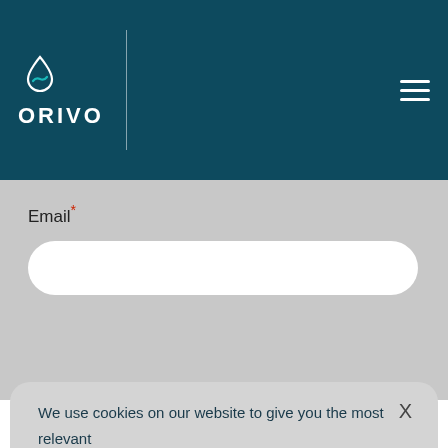ORIVO
Email*
We use cookies on our website to give you the most relevant experience by remembering your preferences and repeat visits. By clicking “Accept”, you consent to the use of ALL the cookies. However you may visit Cookie Settings to provide a controlled consent. Read More
REJECT
ACCEPT
Cookie settings